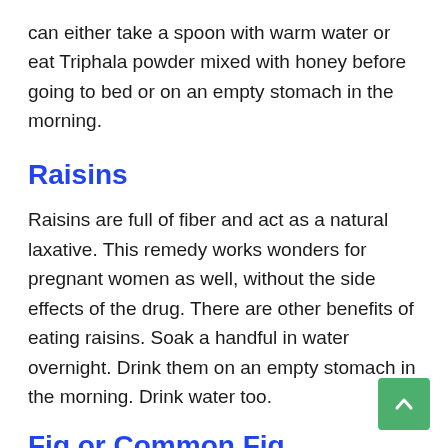can either take a spoon with warm water or eat Triphala powder mixed with honey before going to bed or on an empty stomach in the morning.
Raisins
Raisins are full of fiber and act as a natural laxative. This remedy works wonders for pregnant women as well, without the side effects of the drug. There are other benefits of eating raisins. Soak a handful in water overnight. Drink them on an empty stomach in the morning. Drink water too.
Fig or Common Fig